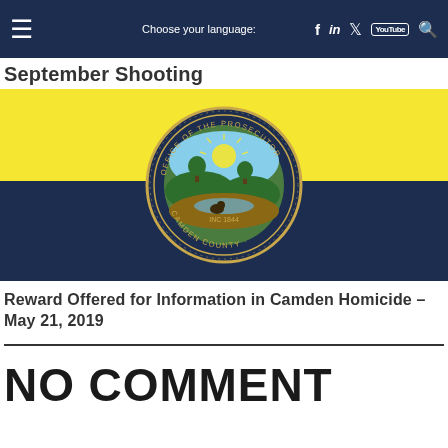Choose your language: [hamburger menu] [facebook] [linkedin] [twitter] [youtube] [search]
September Shooting
[Figure (logo): Camden County Office of the Prosecutor official seal on a yellow and navy blue banner background. The circular seal reads 'Office of the Prosecutor Camden County Inc 1844' with an image of rolling landscape, trees, and a river.]
Reward Offered for Information in Camden Homicide – May 21, 2019
NO COMMENT